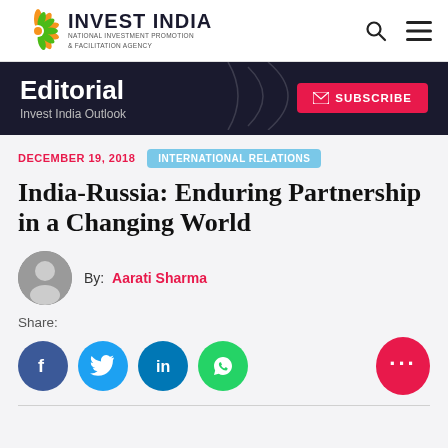INVEST INDIA — NATIONAL INVESTMENT PROMOTION & FACILITATION AGENCY
Editorial — Invest India Outlook
DECEMBER 19, 2018   INTERNATIONAL RELATIONS
India-Russia: Enduring Partnership in a Changing World
By: Aarati Sharma
Share: